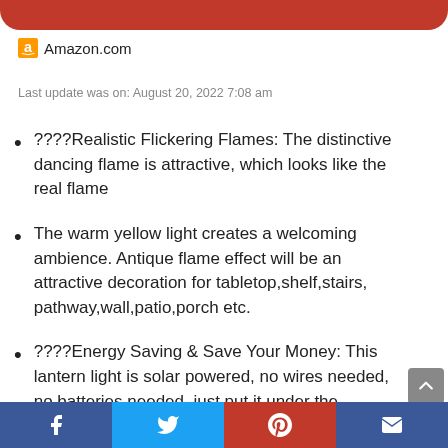[Figure (other): Red rounded button/bar at the top of the page]
[Figure (logo): Amazon.com logo with smile icon]
Last update was on: August 20, 2022 7:08 am
????Realistic Flickering Flames: The distinctive dancing flame is attractive, which looks like the real flame
The warm yellow light creates a welcoming ambience. Antique flame effect will be an attractive decoration for tabletop,shelf,stairs, pathway,wall,patio,porch etc.
????Energy Saving & Save Your Money: This lantern light is solar powered, no wires needed, no batteries needed, just put it under the sunshine to
[Figure (other): Social sharing footer bar with Facebook, Twitter, Pinterest, and email icons]